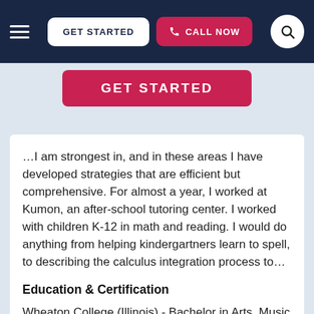[Figure (screenshot): Navigation bar with hamburger menu, GET STARTED button, CALL NOW button, and search icon on dark navy background]
[Figure (screenshot): Pink GET STARTED button]
…I am strongest in, and in these areas I have developed strategies that are efficient but comprehensive. For almost a year, I worked at Kumon, an after-school tutoring center. I worked with children K-12 in math and reading. I would do anything from helping kindergartners learn to spell, to describing the calculus integration process to…
Education & Certification
Wheaton College (Illinois) - Bachelor in Arts, Music